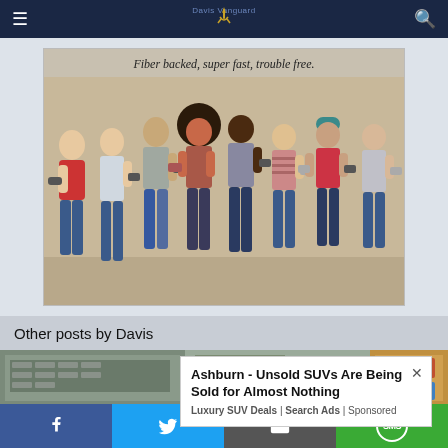Davis Vanguard (navigation bar with hamburger menu, logo, and search icon)
[Figure (photo): Advertisement banner showing group of young people leaning against a wall looking at smartphones, with text 'Fiber backed, super fast, trouble free.']
Other posts by Davis
[Figure (photo): Strip of post thumbnail images showing aerial view of parking lot and interior building images]
Ashburn - Unsold SUVs Are Being Sold for Almost Nothing
Luxury SUV Deals | Search Ads | Sponsored
Social share buttons: Facebook, Twitter, Email, SMS